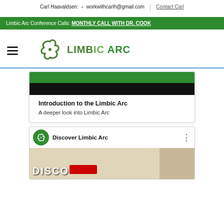Carl Haavaldsen: workwithcarlh@gmail.com | Contact Carl
Limbic Arc Conference Calls: MONTHLY CALL WITH DR. COOK
[Figure (logo): Limbic Arc logo with green stylized leaf/arc icon and text 'LIMBIC ARC']
[Figure (screenshot): Video card for 'Introduction to the Limbic Arc' with subtitle 'A deeper look into Limbic Arc']
[Figure (screenshot): YouTube-style video thumbnail for 'Discover Limbic Arc' with Limbic Arc channel icon and person thumbnail]